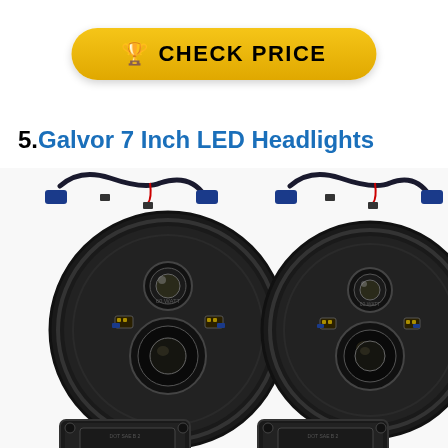[Figure (other): Yellow rounded rectangle button with trophy icon and CHECK PRICE text in bold black letters]
5.Galvor 7 Inch LED Headlights
[Figure (photo): Product photo showing two black round 7-inch LED headlights with wiring harnesses on top, and two smaller square LED fog lights partially visible at the bottom]